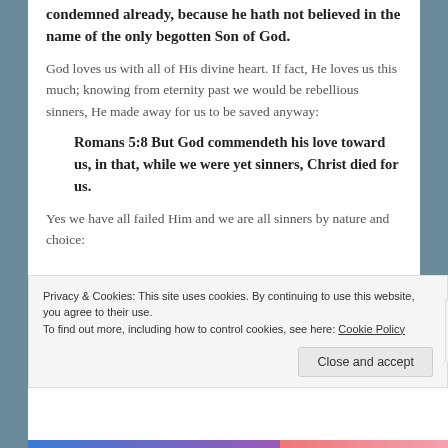condemned already, because he hath not believed in the name of the only begotten Son of God.
God loves us with all of His divine heart. If fact, He loves us this much; knowing from eternity past we would be rebellious sinners, He made away for us to be saved anyway:
Romans 5:8 But God commendeth his love toward us, in that, while we were yet sinners, Christ died for us.
Yes we have all failed Him and we are all sinners by nature and choice:
Privacy & Cookies: This site uses cookies. By continuing to use this website, you agree to their use.
To find out more, including how to control cookies, see here: Cookie Policy